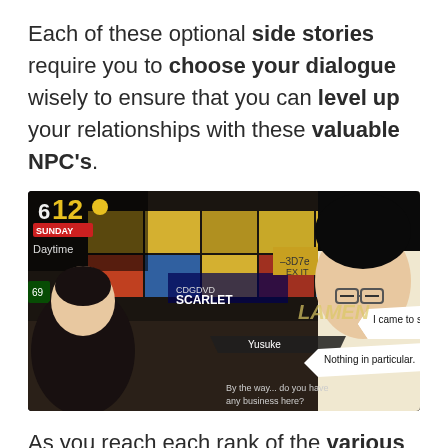Each of these optional side stories require you to choose your dialogue wisely to ensure that you can level up your relationships with these valuable NPC's.
[Figure (screenshot): Screenshot from Persona 5 showing two anime characters — a dark-haired girl on the left and a dark-haired boy with glasses on the right — in a colorful shopping mall interior. Dialog boxes show: 'I came to see you.' and 'Nothing in particular.' A character name tag reads 'Yusuke'. Bottom text reads 'By the way... do you have any business here?']
As you reach each rank of the various Confidants, you will increase your EXP bonus created during